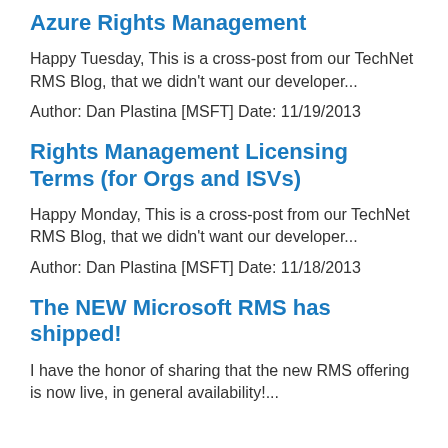Azure Rights Management
Happy Tuesday, This is a cross-post from our TechNet RMS Blog, that we didn't want our developer...
Author: Dan Plastina [MSFT] Date: 11/19/2013
Rights Management Licensing Terms (for Orgs and ISVs)
Happy Monday, This is a cross-post from our TechNet RMS Blog, that we didn't want our developer...
Author: Dan Plastina [MSFT] Date: 11/18/2013
The NEW Microsoft RMS has shipped!
I have the honor of sharing that the new RMS offering is now live, in general availability!...